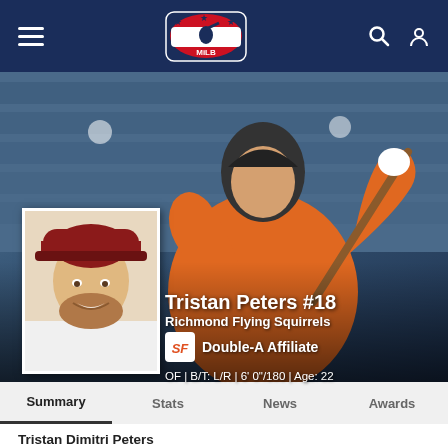[Figure (screenshot): Minor League Baseball app navigation bar with hamburger menu, MiLB logo, search and profile icons on dark navy background]
[Figure (photo): Hero image of baseball player in orange jersey swinging a bat in a stadium, with blurred stadium seats in background. Small headshot thumbnail of Tristan Peters in lower left of hero area.]
Tristan Peters #18
Richmond Flying Squirrels
Double-A Affiliate
OF | B/T: L/R | 6' 0"/180 | Age: 22
Summary
Stats
News
Awards
Tristan Dimitri Peters
Status: Active
Born: 2/29/2000 in Winkler, MB, Canada